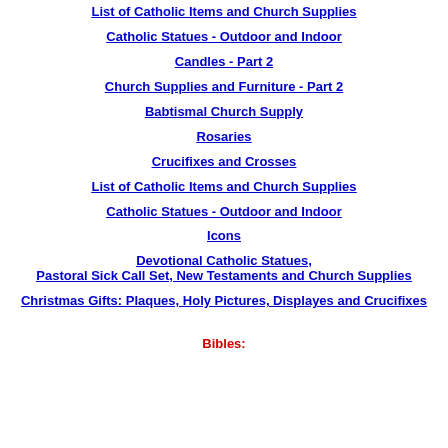List of Catholic Items and Church Supplies
Catholic Statues - Outdoor and Indoor
Candles - Part 2
Church Supplies and Furniture - Part 2
Babtismal Church Supply
Rosaries
Crucifixes and Crosses
List of Catholic Items and Church Supplies
Catholic Statues - Outdoor and Indoor
Icons
Devotional Catholic Statues, Pastoral Sick Call Set, New Testaments and Church Supplies
Christmas Gifts: Plaques, Holy Pictures, Displayes and Crucifixes
Bibles: